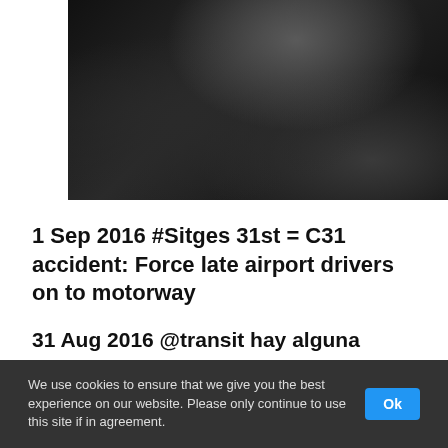[Figure (photo): Dark close-up photo, possibly a damaged or wet car/vehicle surface with metallic elements in dark tones]
1 Sep 2016 #Sitges 31st = C31 accident: Force late airport drivers on to motorway
31 Aug 2016 @transit hay alguna incidencia en la c31 entre Sitges y Castelldefels?llevamos 1/2 sin movernos....
We use cookies to ensure that we give you the best experience on our website. Please only continue to use this site if in agreement.  Ok